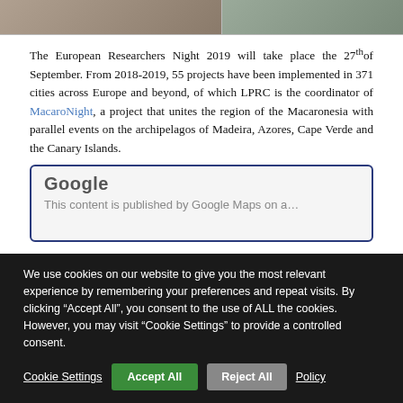[Figure (photo): Top banner with two photographic images side by side]
The European Researchers Night 2019 will take place the 27th of September. From 2018-2019, 55 projects have been implemented in 371 cities across Europe and beyond, of which LPRC is the coordinator of MacaroNight, a project that unites the region of the Macaronesia with parallel events on the archipelagos of Madeira, Azores, Cape Verde and the Canary Islands.
[Figure (screenshot): Embedded Google Maps or Google content box showing 'Google' logo and partial subtitle text]
We use cookies on our website to give you the most relevant experience by remembering your preferences and repeat visits. By clicking "Accept All", you consent to the use of ALL the cookies. However, you may visit "Cookie Settings" to provide a controlled consent.